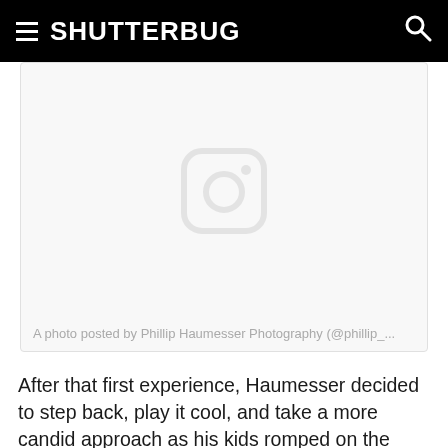SHUTTERBUG
[Figure (screenshot): Instagram embed placeholder with camera icon and caption: A photo posted by Phillip Haumesser Photography (@phillip_...]
A photo posted by Phillip Haumesser Photography (@phillip_...
After that first experience, Haumesser decided to step back, play it cool, and take a more candid approach as his kids romped on the farm. He says that often he’d set the camera down and play with the kids himself—with everyone forgetting about his photography.